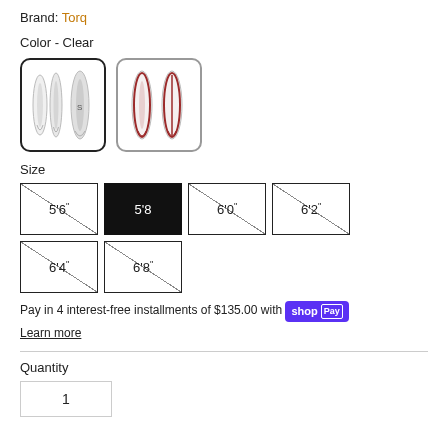Brand: Torq
Color - Clear
[Figure (photo): Two color options for a surfboard: first option (selected) shows three clear/white surfboards side by side; second option shows two red/brown striped surfboards side by side.]
Size
Sizes: 5'6", 5'8" (selected), 6'0", 6'2", 6'4", 6'8" (all crossed out except 5'8")
Pay in 4 interest-free installments of $135.00 with shop Pay
Learn more
Quantity
1